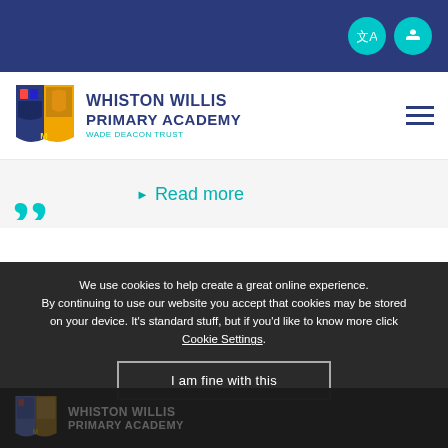[Figure (screenshot): Top navigation bar with dark blue background, translation icon and Twitter icon buttons]
[Figure (logo): Whiston Willis Primary Academy shield logo with school name and Wade Deacon Trust subtitle]
Read more
We use cookies to help create a great online experience. By continuing to use our website you accept that cookies may be stored on your device. It's standard stuff, but if you'd like to know more click Cookie Settings.
I am fine with this
[Figure (logo): Whiston Willis Primary Academy footer logo, faded/dark version]